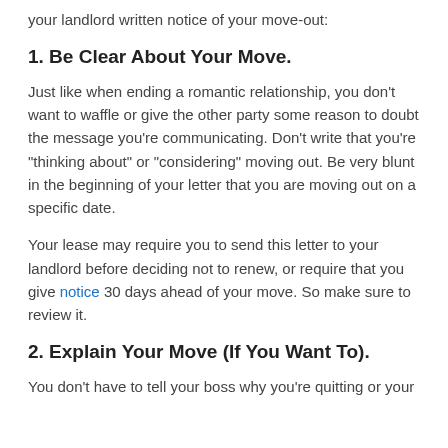your landlord written notice of your move-out:
1. Be Clear About Your Move.
Just like when ending a romantic relationship, you don't want to waffle or give the other party some reason to doubt the message you're communicating. Don't write that you're "thinking about" or "considering" moving out. Be very blunt in the beginning of your letter that you are moving out on a specific date.
Your lease may require you to send this letter to your landlord before deciding not to renew, or require that you give notice 30 days ahead of your move. So make sure to review it.
2. Explain Your Move (If You Want To).
You don't have to tell your boss why you're quitting or your